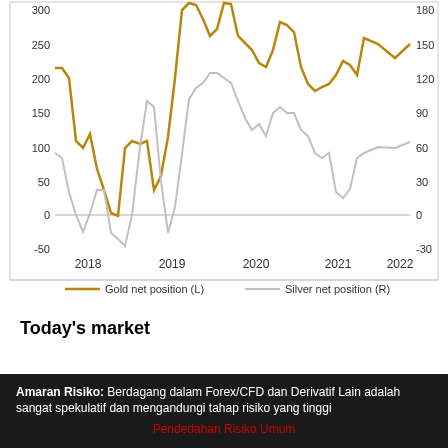[Figure (line-chart): ]
Today's market
Amaran Risiko: Berdagang dalam Forex/CFD dan Derivatif Lain adalah sangat spekulatif dan mengandungi tahap risiko yang tinggi
Pendedahan Risiko Umum